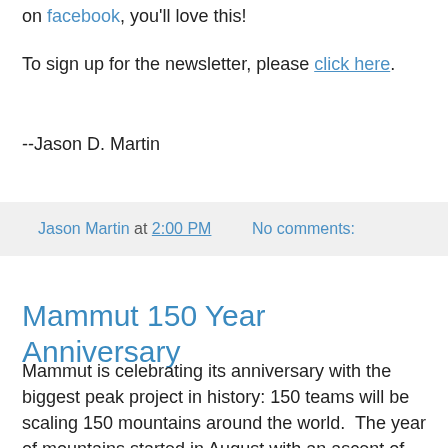on facebook, you'll love this!
To sign up for the newsletter, please click here.
--Jason D. Martin
Jason Martin at 2:00 PM   No comments:
Mammut 150 Year Anniversary
Mammut is celebrating its anniversary with the biggest peak project in history: 150 teams will be scaling 150 mountains around the world.  The year of mountains started in August with an ascent of the Jungrau in Europe.  Mammut is promoting this as the biggest peak project in history.
[Figure (screenshot): Video thumbnail showing Mammut 150 Pea... with Mammut logo and mountain scenery]